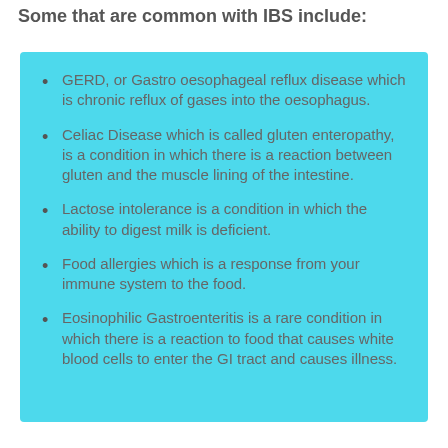Some that are common with IBS include:
GERD, or Gastro oesophageal reflux disease which is chronic reflux of gases into the oesophagus.
Celiac Disease which is called gluten enteropathy, is a condition in which there is a reaction between gluten and the muscle lining of the intestine.
Lactose intolerance is a condition in which the ability to digest milk is deficient.
Food allergies which is a response from your immune system to the food.
Eosinophilic Gastroenteritis is a rare condition in which there is a reaction to food that causes white blood cells to enter the GI tract and causes illness.